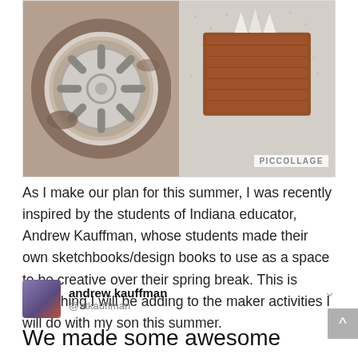[Figure (photo): PicCollage image showing two photos side by side: left photo is a close-up of a chrome wheel/rim in mud, right photo is handmade sketchbooks/design books on carpet. 'PICCOLLAGE' watermark in bottom right.]
As I make our plan for this summer, I was recently inspired by the students of Indiana educator, Andrew Kauffman, whose students made their own sketchbooks/design books to use as a space to be creative over their spring break. This is something I will be adding to the maker activities I will do with my son this summer.
[Figure (screenshot): Embedded tweet from andrew kauffman (@atkauffman) with profile photo. Tweet text begins: 'We made some awesome sketchbooks/design books for our spring break creativity. Using vinyl, duct tape and']
We made some awesome sketchbooks/design books for our spring break creativity. Using vinyl, duct tape and